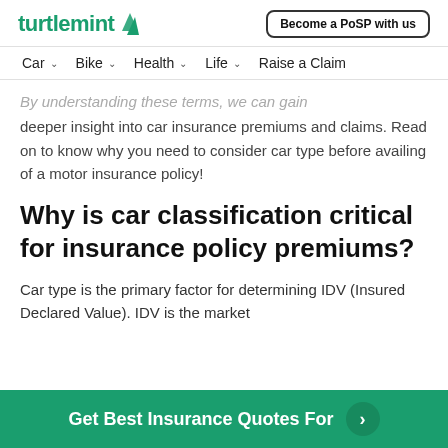turtlemint | Become a PoSP with us
Car | Bike | Health | Life | Raise a Claim
By understanding these terms, we can gain deeper insight into car insurance premiums and claims. Read on to know why you need to consider car type before availing of a motor insurance policy!
Why is car classification critical for insurance policy premiums?
Car type is the primary factor for determining IDV (Insured Declared Value). IDV is the market
Get Best Insurance Quotes For >